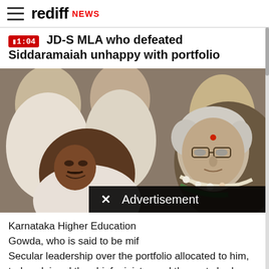rediff NEWS
JD-S MLA who defeated Siddaramaiah unhappy with portfolio
[Figure (photo): Photo of an elderly man with white hair and glasses surrounded by other people, likely a political scene in India.]
× Advertisement
Karnataka Higher Education Gowda, who is said to be mif Secular leadership over the portfolio allocated to him, today claimed the chief minister and the party had agreed to change his department.